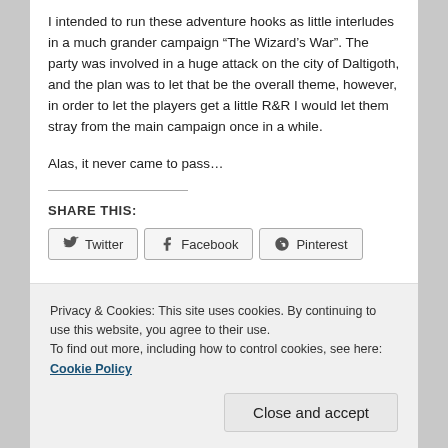I intended to run these adventure hooks as little interludes in a much grander campaign “The Wizard’s War”. The party was involved in a huge attack on the city of Daltigoth, and the plan was to let that be the overall theme, however, in order to let the players get a little R&R I would let them stray from the main campaign once in a while.
Alas, it never came to pass…
SHARE THIS:
Twitter  Facebook  Pinterest
Privacy & Cookies: This site uses cookies. By continuing to use this website, you agree to their use.
To find out more, including how to control cookies, see here: Cookie Policy